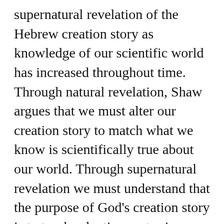supernatural revelation of the Hebrew creation story as knowledge of our scientific world has increased throughout time. Through natural revelation, Shaw argues that we must alter our creation story to match what we know is scientifically true about our world. Through supernatural revelation we must understand that the purpose of God's creation story is to teach salvation, not science or philosophy, and that God does not put weight on the link between the creation story and the modern-day scientific universe. It is a new and enlightening take on a widely discussed